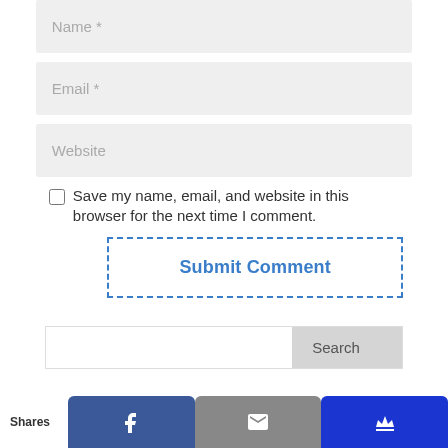Name *
Email *
Website
Save my name, email, and website in this browser for the next time I comment.
Submit Comment
Search
Shares